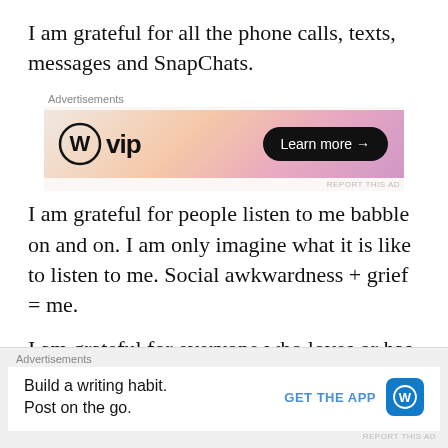I am grateful for all the phone calls, texts, messages and SnapChats.
[Figure (screenshot): WordPress VIP advertisement banner with gradient background and Learn more button]
I am grateful for people listen to me babble on and on.  I am only imagine what it is like to listen to me.  Social awkwardness + grief = me.
I am grateful for everyone who loves or has loved my daughter.
[Figure (screenshot): Bottom advertisement bar: Build a writing habit. Post on the go. GET THE APP with WordPress logo]